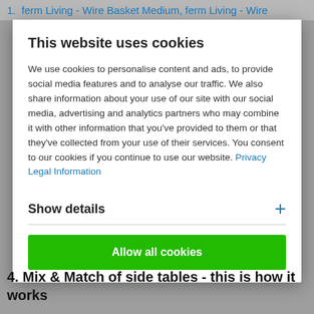1. ferm Living - Wire Basket Medium, ferm Living - Wire
This website uses cookies
We use cookies to personalise content and ads, to provide social media features and to analyse our traffic. We also share information about your use of our site with our social media, advertising and analytics partners who may combine it with other information that you’ve provided to them or that they’ve collected from your use of their services. You consent to our cookies if you continue to use our website. Privacy Legal Information
Show details
Allow all cookies
4. Mix & Match of side tables - this is how it works